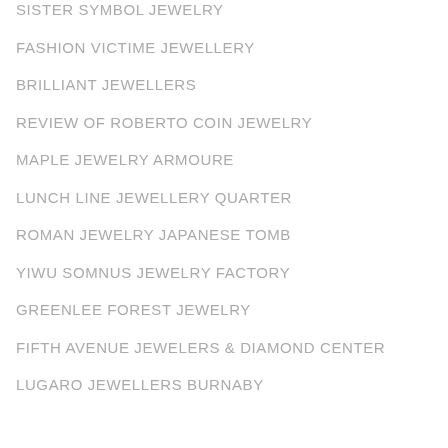SISTER SYMBOL JEWELRY
FASHION VICTIME JEWELLERY
BRILLIANT JEWELLERS
REVIEW OF ROBERTO COIN JEWELRY
MAPLE JEWELRY ARMOURE
LUNCH LINE JEWELLERY QUARTER
ROMAN JEWELRY JAPANESE TOMB
YIWU SOMNUS JEWELRY FACTORY
GREENLEE FOREST JEWELRY
FIFTH AVENUE JEWELERS & DIAMOND CENTER
LUGARO JEWELLERS BURNABY